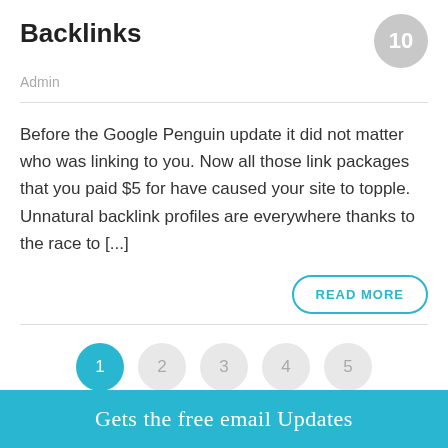Backlinks
Admin
Before the Google Penguin update it did not matter who was linking to you. Now all those link packages that you paid $5 for have caused your site to topple. Unnatural backlink profiles are everywhere thanks to the race to [...]
READ MORE
1
2
3
4
5
Gets the free email Updates